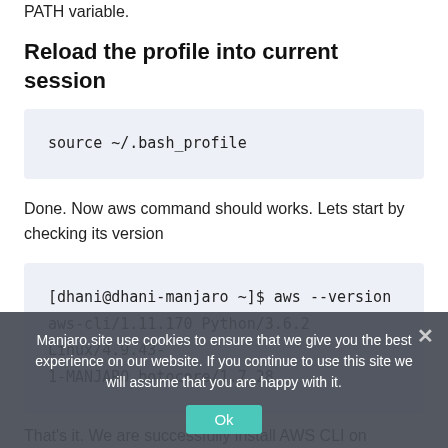PATH variable.
Reload the profile into current session
source ~/.bash_profile
Done. Now aws command should works. Lets start by checking its version
[dhani@dhani-manjaro ~]$ aws --version
aws-cli/1.11.170 Python/3.6.2 Linux/4.9.43-1-MANJARO botocore/1.7.28
That's it. We are successfully install AWS CLI on Manjaro Linux. We may post more tutorial on how to use aws command to backup Linux to Amazon S3 and other stuffs. Cheers.
Manjaro.site use cookies to ensure that we give you the best experience on our website. If you continue to use this site we will assume that you are happy with it.